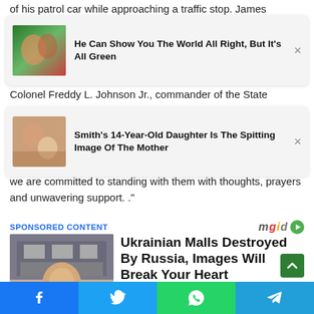of his patrol car while approaching a traffic stop. James
[Figure (screenshot): Ad card: animated/green-screen image with Disney-style characters. Title: He Can Show You The World All Right, But It's All Green]
Colonel Freddy L. Johnson Jr., commander of the State
[Figure (screenshot): Ad card: photo of young woman with child. Title: Smith's 14-Year-Old Daughter Is The Spitting Image Of The Mother]
we are committed to standing with them with thoughts, prayers and unwavering support. ."
SPONSORED CONTENT
[Figure (photo): Sponsored article: composite image of destroyed building and woman with Ukrainian flag face paint. Title: Ukrainian Malls Destroyed By Russia, Images Will Break Your Heart]
Social share buttons: Facebook, Twitter, WhatsApp, Telegram